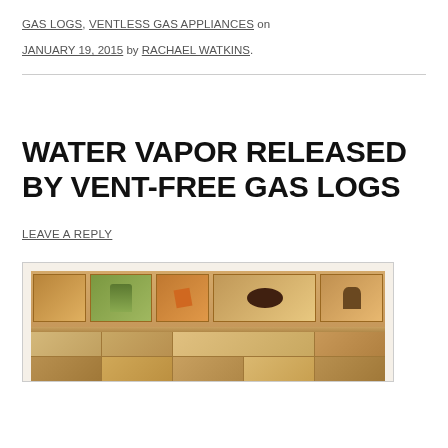GAS LOGS, VENTLESS GAS APPLIANCES on
JANUARY 19, 2015 by RACHAEL WATKINS.
WATER VAPOR RELEASED BY VENT-FREE GAS LOGS
LEAVE A REPLY
[Figure (photo): Interior room photo showing a stone or tile wall with decorative niches containing sculptures and ornaments, with warm amber/orange lighting]